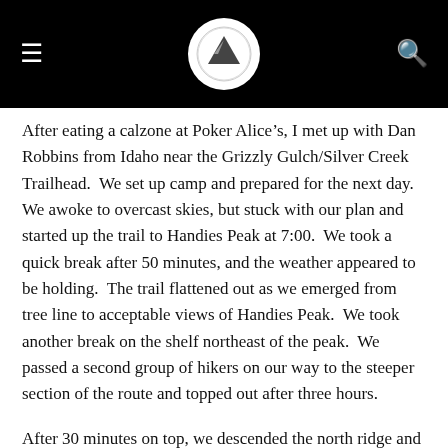[Navigation header with hamburger menu, logo, and search icon]
After eating a calzone at Poker Alice’s, I met up with Dan Robbins from Idaho near the Grizzly Gulch/Silver Creek Trailhead.  We set up camp and prepared for the next day.  We awoke to overcast skies, but stuck with our plan and started up the trail to Handies Peak at 7:00.  We took a quick break after 50 minutes, and the weather appeared to be holding.  The trail flattened out as we emerged from tree line to acceptable views of Handies Peak.  We took another break on the shelf northeast of the peak.  We passed a second group of hikers on our way to the steeper section of the route and topped out after three hours.
After 30 minutes on top, we descended the north ridge and continued over to Whitecross Mountain.  There was a bit of class 2+ scrambling on the ridge.  It took 1 hour and 15 minutes to make the traverse, and we only stayed on the summit for 5 minutes before weather deteriorated similar to the previous day.  We descended off the southeast slopes of Whitecross Mountain to the standard trail and back to the trailhead.  It was